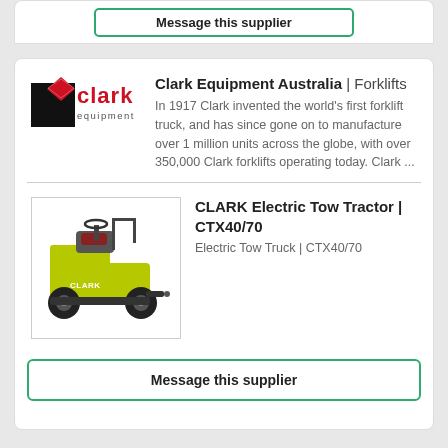Message this supplier
Clark Equipment Australia | Forklifts
In 1917 Clark invented the world's first forklift truck, and has since gone on to manufacture over 1 million units across the globe, with over 350,000 Clark forklifts operating today. Clark ...
[Figure (logo): Clark Equipment logo: red diamond and black square with 'clark equipment' text in red]
CLARK Electric Tow Tractor | CTX40/70
Electric Tow Truck | CTX40/70
[Figure (photo): Photo of a yellow/green CLARK Electric Tow Tractor CTX40/70 on white background]
Message this supplier